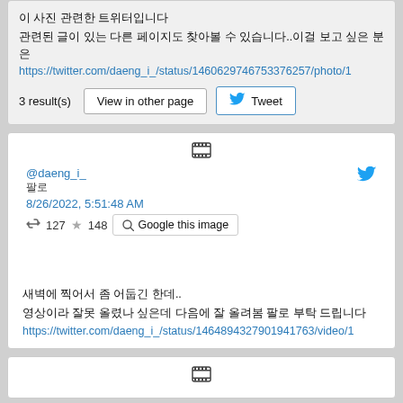이 사진 관련한 트위터입니다
관련된 글이 있는 다른 페이지도 찾아볼 수 있습니다..이걸 보고 싶은 분은
https://twitter.com/daeng_i_/status/1460629746753376257/photo/1
3 result(s)   View in other page   Tweet
[Figure (screenshot): Tweet card with film icon, @daeng_i_ account, Korean text '팔로', date 8/26/2022 5:51:48 AM, retweet count 127, star count 148, Google this image button, Twitter bird icon]
새벽에 찍어서 좀 어둡긴 한데..
영상이라 잘못 올렸나 싶은데 다음에 잘 올려봄 팔로 부탁 드립니다
https://twitter.com/daeng_i_/status/1464894327901941763/video/1
[Figure (screenshot): Second tweet card with film icon at bottom of page]